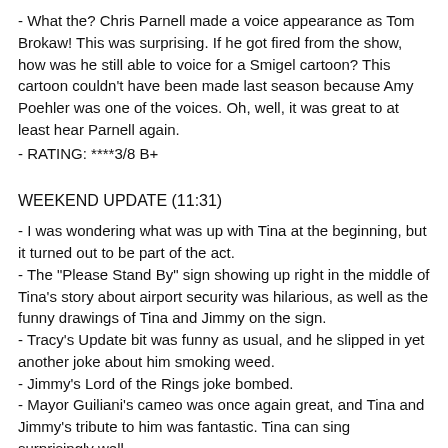- What the? Chris Parnell made a voice appearance as Tom Brokaw! This was surprising. If he got fired from the show, how was he still able to voice for a Smigel cartoon? This cartoon couldn't have been made last season because Amy Poehler was one of the voices. Oh, well, it was great to at least hear Parnell again.
- RATING: ****3/8 B+
WEEKEND UPDATE (11:31)
- I was wondering what was up with Tina at the beginning, but it turned out to be part of the act.
- The "Please Stand By" sign showing up right in the middle of Tina's story about airport security was hilarious, as well as the funny drawings of Tina and Jimmy on the sign.
- Tracy's Update bit was funny as usual, and he slipped in yet another joke about him smoking weed.
- Jimmy's Lord of the Rings joke bombed.
- Mayor Guiliani's cameo was once again great, and Tina and Jimmy's tribute to him was fantastic. Tina can sing surprisingly well.
- I really like all the clever twists in tonight's Update.